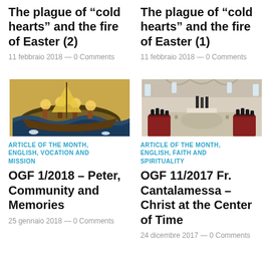The plague of “cold hearts” and the fire of Easter (2)
11 febbraio 2018 — 0 Comments
The plague of “cold hearts” and the fire of Easter (1)
11 febbraio 2018 — 0 Comments
[Figure (illustration): Byzantine-style icon painting showing figures in a boat with golden halos and fish visible in the water]
[Figure (photo): Interior of an ornate church or hall with people seated in rows facing an altar or presentation area]
ARTICLE OF THE MONTH, ENGLISH, VOCATION AND MISSION
ARTICLE OF THE MONTH, ENGLISH, FAITH AND SPIRITUALITY
OGF 1/2018 – Peter, Community and Memories
OGF 11/2017 Fr. Cantalamessa – Christ at the Center of Time
25 gennaio 2018 — 0 Comments
24 dicembre 2017 — 0 Comments